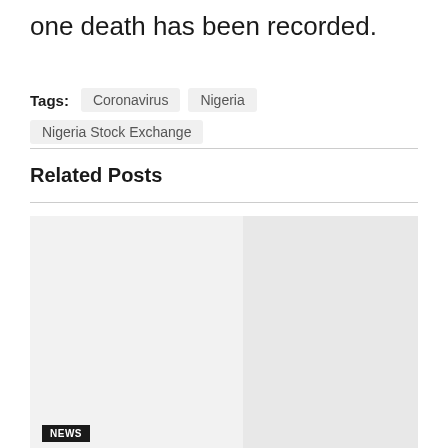one death has been recorded.
Tags: Coronavirus  Nigeria  Nigeria Stock Exchange
Related Posts
[Figure (photo): A light gray image placeholder for a related post article, with a slightly darker gray gradient visible on the right side. A 'NEWS' badge label appears at the bottom left corner of the image.]